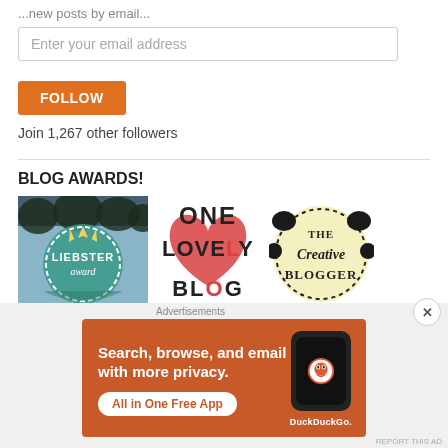...new posts by email...
Enter your email address
FOLLOW
Join 1,267 other followers
BLOG AWARDS!
[Figure (illustration): Liebster Award badge – circular teal badge with trees silhouette and text 'LIEBSTER award']
[Figure (illustration): One Lovely Blog award badge – bold text 'ONE LOVELY BLOG' with a red heart]
[Figure (illustration): The Creative Blogger award badge – circular badge with dotted border and cursive text 'The Creative BLOGGER']
Advertisements
[Figure (infographic): DuckDuckGo advertisement banner on orange background: 'Search, browse, and email with more privacy. All in One Free App' with phone graphic and DuckDuckGo logo]